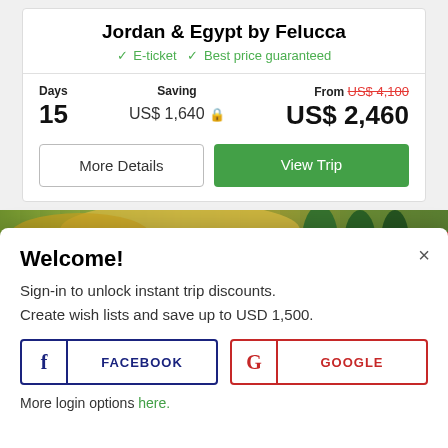Jordan & Egypt by Felucca
✓ E-ticket  ✓ Best price guaranteed
| Days | Saving | From |
| --- | --- | --- |
| 15 | US$ 1,640 🔒 | US$ 2,460 |
More Details | View Trip
[Figure (photo): Outdoor photo strip showing trees and people, with a red 10% OFF badge on the right]
Welcome!
Sign-in to unlock instant trip discounts.
Create wish lists and save up to USD 1,500.
FACEBOOK | GOOGLE
More login options here.